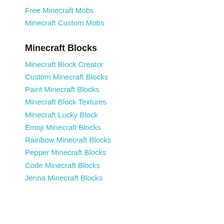Free Minecraft Mobs
Minecraft Custom Mobs
Minecraft Blocks
Minecraft Block Creator
Custom Minecraft Blocks
Paint Minecraft Blocks
Minecraft Block Textures
Minecraft Lucky Block
Emoji Minecraft Blocks
Rainbow Minecraft Blocks
Pepper Minecraft Blocks
Code Minecraft Blocks
Jenna Minecraft Blocks